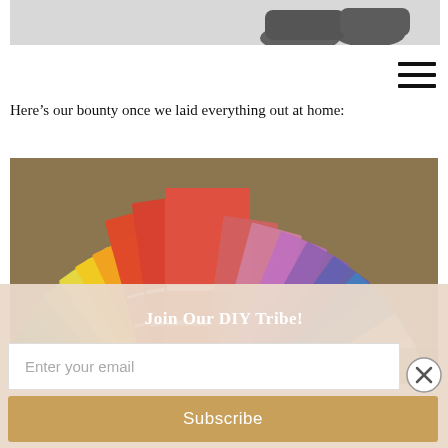[Figure (photo): Partial view of shoes/feet at top of cropped blog page image]
[Figure (other): Hamburger/menu icon with three horizontal lines in top right]
Here’s our bounty once we laid everything out at home:
[Figure (photo): Fan of colorful paint chip color swatches spread out on a surface, showing a wide range of colors from red/orange to green, blue, purple, and neutral tones]
Join Our DIY Tribe!
Enter your email
Subscribe